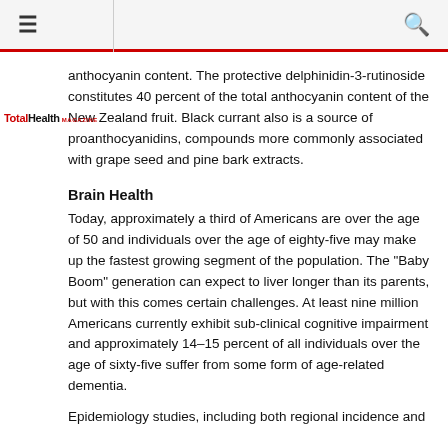≡   [search icon]
[Figure (logo): TotalHealth Magazine logo in red and black text]
anthocyanin content. The protective delphinidin-3-rutinoside constitutes 40 percent of the total anthocyanin content of the New Zealand fruit. Black currant also is a source of proanthocyanidins, compounds more commonly associated with grape seed and pine bark extracts.
Brain Health
Today, approximately a third of Americans are over the age of 50 and individuals over the age of eighty-five may make up the fastest growing segment of the population. The "Baby Boom" generation can expect to liver longer than its parents, but with this comes certain challenges. At least nine million Americans currently exhibit sub-clinical cognitive impairment and approximately 14–15 percent of all individuals over the age of sixty-five suffer from some form of age-related dementia.
Epidemiology studies, including both regional incidence and